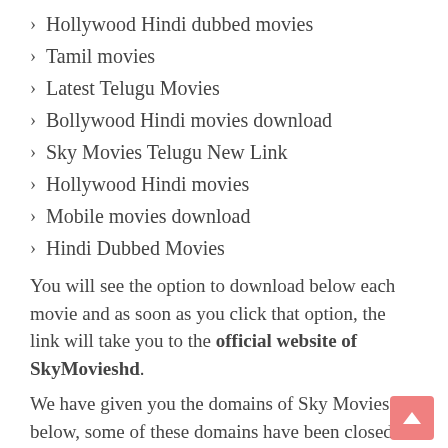Hollywood Hindi dubbed movies
Tamil movies
Latest Telugu Movies
Bollywood Hindi movies download
Sky Movies Telugu New Link
Hollywood Hindi movies
Mobile movies download
Hindi Dubbed Movies
You will see the option to download below each movie and as soon as you click that option, the link will take you to the official website of SkyMovieshd.
We have given you the domains of Sky Movies below, some of these domains have been closed.
skymovies.ws  skymovies.la
skymovies.org  skymovies.com